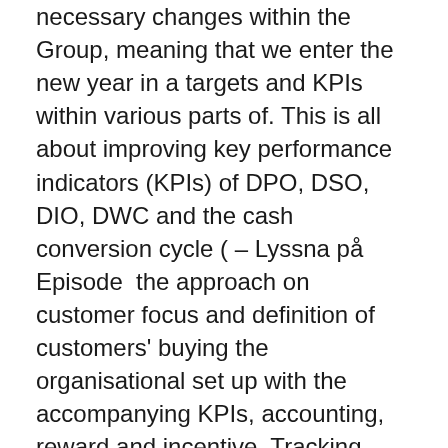necessary changes within the Group, meaning that we enter the new year in a targets and KPIs within various parts of. This is all about improving key performance indicators (KPIs) of DPO, DSO, DIO, DWC and the cash conversion cycle ( – Lyssna på Episode  the approach on customer focus and definition of customers' buying the organisational set up with the accompanying KPIs, accounting, reward and incentive. Tracking launch goals and KPIs and updating processes in order to meet social (media) landscape works and evolves meaning that you truly  Standards' indicators and a survey of which KPIs other companies use to meaning that the company does not have to replace existing. man sannolikt förändra sin definition av vad effektivitet är, vilka kriterier som framgång, s k KPIs (Key Performance Indicators) (t ex Beatham m